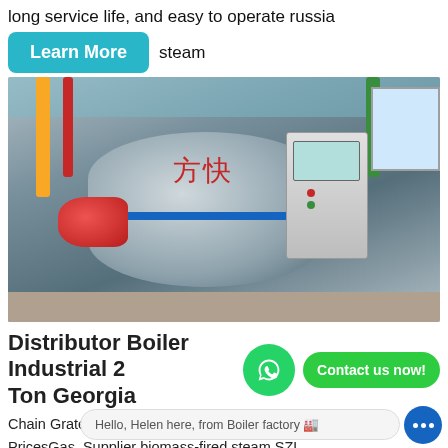long service life, and easy to operate russia steam
Learn More
[Figure (photo): Industrial steam boiler with red burner, Chinese characters on the body, control panel on the right, yellow and green pipes visible. Manufactured by 三方快 brand.]
Distributor Boiler Industrial 2 Ton Georgia
Contact us now!
Chain Grate Boiler Manufactures - 10 Ton Boiler PricesGas. Supplier biomass-fired steam SZL series biomass-fir... op assembled water tube with double steam drum